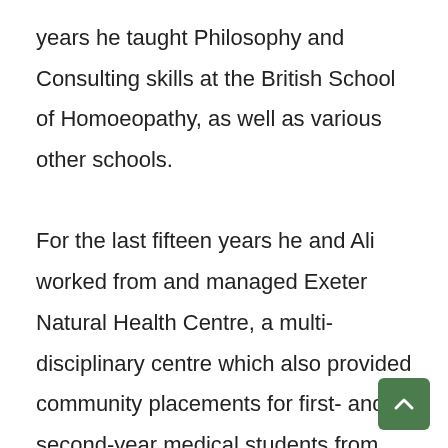years he taught Philosophy and Consulting skills at the British School of Homoeopathy, as well as various other schools.

For the last fifteen years he and Ali worked from and managed Exeter Natural Health Centre, a multi-disciplinary centre which also provided community placements for first- and second-year medical students from the University of Exeter School of Medicine and Dentist...